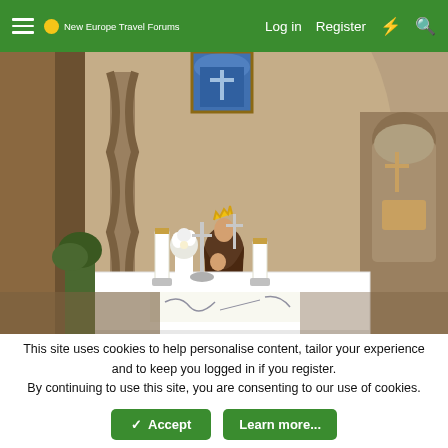New Europe Travel Forums — Log in | Register
[Figure (photo): Interior of a Romanesque church showing a Madonna and Child statue on a pedestal at the altar, flanked by twisted stone columns, candles, and flower arrangements on a white altar cloth. A stained glass window is visible above.]
This site uses cookies to help personalise content, tailor your experience and to keep you logged in if you register.
By continuing to use this site, you are consenting to our use of cookies.
✓ Accept   Learn more...